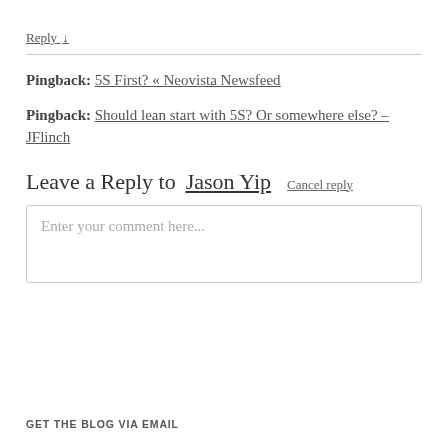Reply ↓
Pingback: 5S First? « Neovista Newsfeed
Pingback: Should lean start with 5S? Or somewhere else? – JFlinch
Leave a Reply to Jason Yip   Cancel reply
Enter your comment here...
GET THE BLOG VIA EMAIL